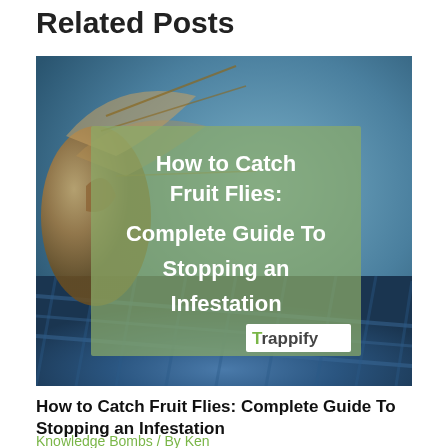Related Posts
[Figure (photo): Macro photo of a fruit fly/mosquito insect with blue fabric in the background. Overlaid semi-transparent green box with white bold text: 'How to Catch Fruit Flies: Complete Guide To Stopping an Infestation'. Trappify logo in white box at bottom right of overlay.]
How to Catch Fruit Flies: Complete Guide To Stopping an Infestation
Knowledge Bombs / By Ken